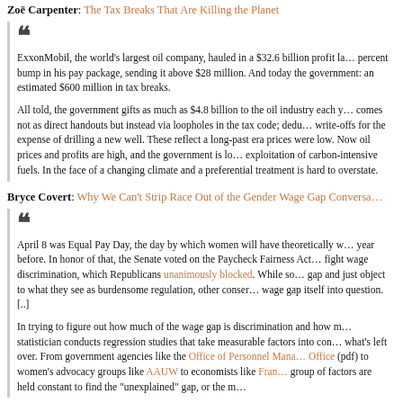Zoë Carpenter: The Tax Breaks That Are Killing the Planet
ExxonMobil, the world's largest oil company, hauled in a $32.6 billion profit last year, handed its CEO a 7 percent bump in his pay package, sending it above $28 million. And today the company gets a nice gift from the government: an estimated $600 million in tax breaks.

All told, the government gifts as much as $4.8 billion to the oil industry each year. Most of that money comes not as direct handouts but instead via loopholes in the tax code; deductions like percentage depletion and write-offs for the expense of drilling a new well. These reflect a long-past era of American energy policy, when oil prices were low. Now oil prices and profits are high, and the government is looking to encourage more domestic exploitation of carbon-intensive fuels. In the face of a changing climate and a budget crisis, the cost of this preferential treatment is hard to overstate.
Bryce Covert: Why We Can't Strip Race Out of the Gender Wage Gap Conversation
April 8 was Equal Pay Day, the day by which women will have theoretically worked enough to make up for what men earned the year before. In honor of that, the Senate voted on the Paycheck Fairness Act, a bill that would help women fight wage discrimination, which Republicans unanimously blocked. While some conservatives acknowledge the wage gap and just object to what they see as burdensome regulation, other conservatives have started calling the wage gap itself into question. [..]

In trying to figure out how much of the wage gap is discrimination and how much is worker choices, a statistician conducts regression studies that take measurable factors into consideration and then look at what's left over. From government agencies like the Office of Personnel Management and the Government Accountability Office (pdf) to women's advocacy groups like AAUW to economists like Franco... a group of factors are held constant to find the "unexplained" gap, or the m...